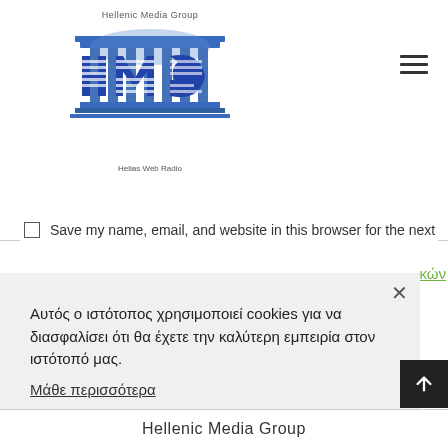[Figure (logo): Hellenic Media Group logo with HMG letters in Greek flag colors and temple/columns graphic, with text 'Hellenic Media Group' above and 'Helias Web Radio' below]
Save my name, email, and website in this browser for the next
κών
Αυτός ο ιστότοπος χρησιμοποιεί cookies για να διασφαλίσει ότι θα έχετε την καλύτερη εμπειρία στον ιστότοπό μας.
Μάθε περισσότερα
απορρίφθηκε
Αποδέχομαι
Hellenic Media Group